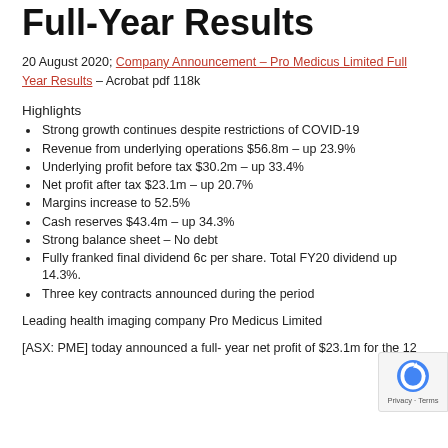Full-Year Results
20 August 2020; Company Announcement – Pro Medicus Limited Full Year Results – Acrobat pdf 118k
Highlights
Strong growth continues despite restrictions of COVID-19
Revenue from underlying operations $56.8m – up 23.9%
Underlying profit before tax $30.2m – up 33.4%
Net profit after tax $23.1m – up 20.7%
Margins increase to 52.5%
Cash reserves $43.4m – up 34.3%
Strong balance sheet – No debt
Fully franked final dividend 6c per share. Total FY20 dividend up 14.3%.
Three key contracts announced during the period
Leading health imaging company Pro Medicus Limited
[ASX: PME] today announced a full- year net profit of $23.1m for the 12